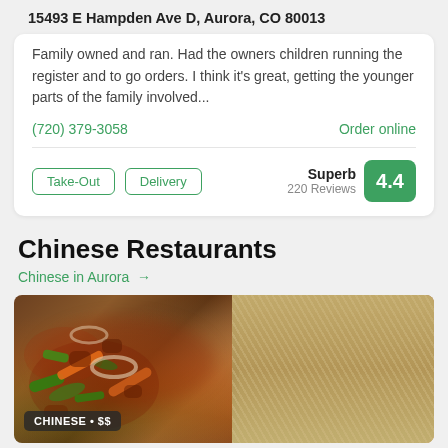15493 E Hampden Ave D, Aurora, CO 80013
Family owned and ran. Had the owners children running the register and to go orders. I think it's great, getting the younger parts of the family involved...
(720) 379-3058
Order online
Take-Out
Delivery
Superb
220 Reviews
4.4
Chinese Restaurants
Chinese in Aurora →
[Figure (photo): Photo of Chinese food: stir-fried meat and vegetables in sauce on left, fried rice on right, with a badge reading CHINESE • $$]